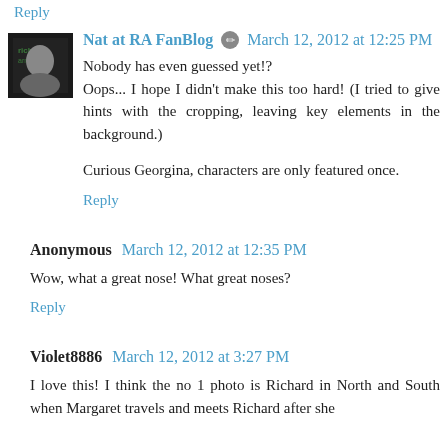Reply
Nat at RA FanBlog  March 12, 2012 at 12:25 PM
Nobody has even guessed yet!? Oops... I hope I didn't make this too hard! (I tried to give hints with the cropping, leaving key elements in the background.)
Curious Georgina, characters are only featured once.
Reply
Anonymous  March 12, 2012 at 12:35 PM
Wow, what a great nose! What great noses?
Reply
Violet8886  March 12, 2012 at 3:27 PM
I love this! I think the no 1 photo is Richard in North and South when Margaret travels and meets Richard after she